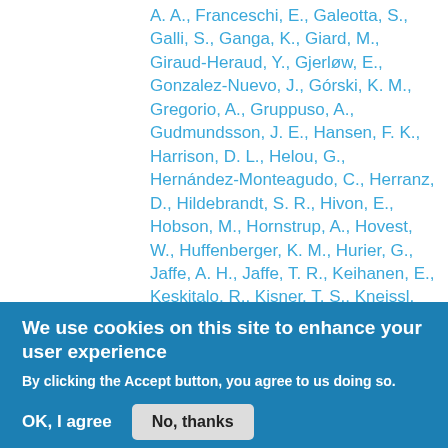A. A., Franceschi, E., Galeotta, S., Galli, S., Ganga, K., Giard, M., Giraud-Heraud, Y., Gjerløw, E., Gonzalez-Nuevo, J., Górski, K. M., Gregorio, A., Gruppuso, A., Gudmundsson, J. E., Hansen, F. K., Harrison, D. L., Helou, G., Hernández-Monteagudo, C., Herranz, D., Hildebrandt, S. R., Hivon, E., Hobson, M., Hornstrup, A., Hovest, W., Huffenberger, K. M., Hurier, G., Jaffe, A. H., Jaffe, T. R., Keihanen, E., Keskitalo, R., Kisner, T. S., Kneissl, R., Knoche, J., Kunz, M., Kurki-Suonio, H., Lagache, G., Lamarre, J. - M., Lasenby, A., Lattanzi, M., Lawrence, C. R., Leonardi, R., Levrier, F., Liguori, M., Lilje, P. B., Linden-
We use cookies on this site to enhance your user experience
By clicking the Accept button, you agree to us doing so. No, give me more info
OK, I agree
No, thanks